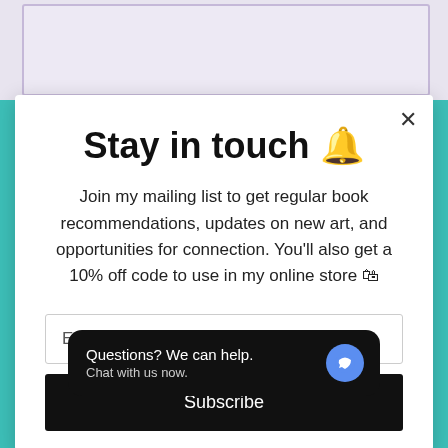Stay in touch 🔔
Join my mailing list to get regular book recommendations, updates on new art, and opportunities for connection. You'll also get a 10% off code to use in my online store 🛍
Email address
Subscribe
Questions? We can help. Chat with us now.
Links